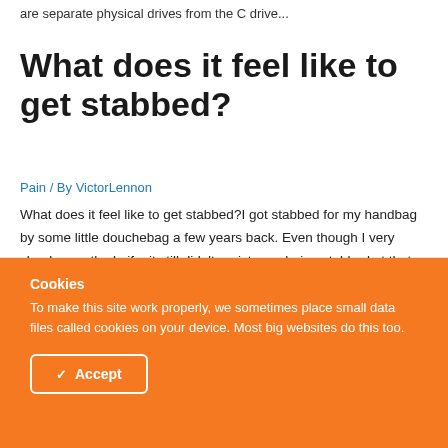are separate physical drives from the C drive...
What does it feel like to get stabbed?
Pain / By VictorLennon
What does it feel like to get stabbed?I got stabbed for my handbag by some little douchebag a few years back. Even though I very clearly saw the knife, it still didn't register as being stabbed at that
Cookies
To make this site work properly, we sometimes place small data files called cookies on your device. Most big websites do this too.
Accept